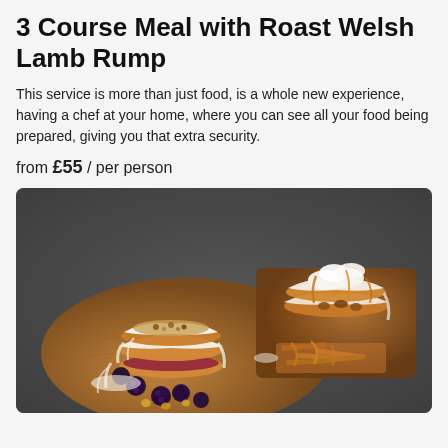3 Course Meal with Roast Welsh Lamb Rump
This service is more than just food, is a whole new experience, having a chef at your home, where you can see all your food being prepared, giving you that extra security.
from £55 / per person
[Figure (photo): Food photo showing stacked pancakes with cream, blackberries, and toppings on a wooden board, alongside another stack with pretzels and caramel drizzle, on a dark stone background.]